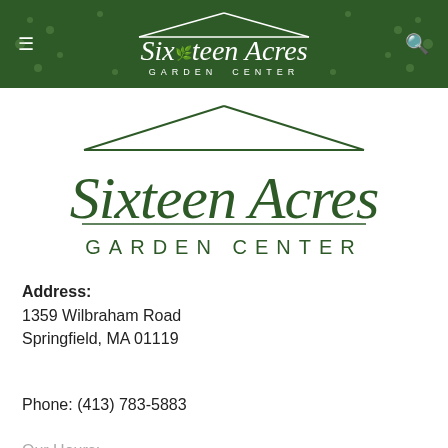[Figure (logo): Sixteen Acres Garden Center logo in white on dark green header bar, with roof outline above text and menu/search icons]
[Figure (logo): Sixteen Acres Garden Center logo in dark green on white background, large version with roof outline above text]
Address:
1359 Wilbraham Road
Springfield, MA 01119
Phone: (413) 783-5883
Our Hours: